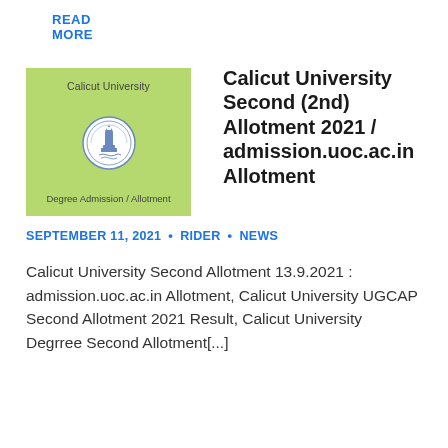READ MORE
[Figure (illustration): Green banner image with Calicut University logo/seal in center, text 'Calicut University' at top and 'Degree Admission / Allotment' at bottom]
Calicut University Second (2nd) Allotment 2021 / admission.uoc.ac.in Allotment
SEPTEMBER 11, 2021 • RIDER • NEWS
Calicut University Second Allotment 13.9.2021 : admission.uoc.ac.in Allotment, Calicut University UGCAP Second Allotment 2021 Result, Calicut University Degrree Second Allotment[...]
READ MORE